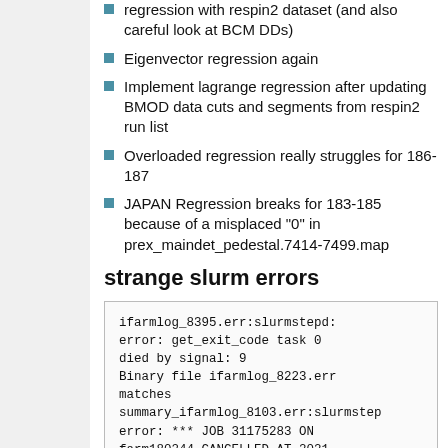regression with respin2 dataset (and also careful look at BCM DDs)
Eigenvector regression again
Implement lagrange regression after updating BMOD data cuts and segments from respin2 run list
Overloaded regression really struggles for 186-187
JAPAN Regression breaks for 183-185 because of a misplaced "0" in prex_maindet_pedestal.7414-7499.map
strange slurm errors
ifarmlog_8395.err:slurmstepd:
error: get_exit_code task 0
died by signal: 9
Binary file ifarmlog_8223.err
matches
summary_ifarmlog_8103.err:slurmstep
error: *** JOB 31175283 ON
farm180244 CANCELLED AT 2021-
04-23T13:54:11 ***
summary_ifarmlog_8102.err:slurmstep
error: *** JOB 31175282 ON
farm180244 CANCELLED AT 2021-
04-23T13:54:11 ***